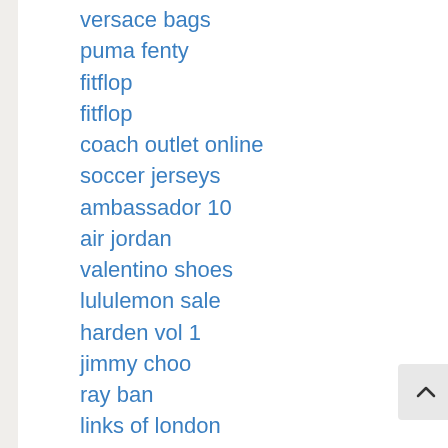versace bags
puma fenty
fitflop
fitflop
coach outlet online
soccer jerseys
ambassador 10
air jordan
valentino shoes
lululemon sale
harden vol 1
jimmy choo
ray ban
links of london
air jordan
prada handbags
coach handbags
ray ban sunglasses
cheap mlb jerseys
x-large clothing